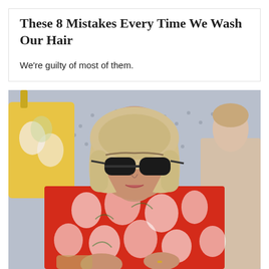These 8 Mistakes Every Time We Wash Our Hair
We're guilty of most of them.
[Figure (photo): A woman with a blonde bob haircut wearing large dark sunglasses and a red floral-print shirt, seated. Behind her is a person in a blue patterned dress and another person in a beige outfit. A yellow bag with floral print is visible on the left.]